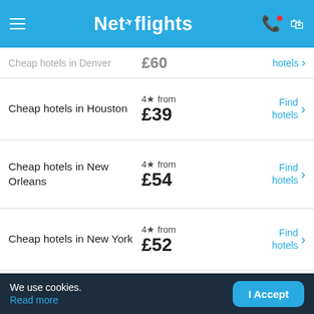Netflights
Cheap hotels in Denver — 4★ from £60 — Find hotels
Cheap hotels in Houston — 4★ from £39 — Find hotels
Cheap hotels in New Orleans — 4★ from £54 — Find hotels
Cheap hotels in New York — 4★ from £52 — Find hotels
Cheap hotels in Washington DC — 4★ from £39 — Find hotels
We use cookies. Read more | I Accept